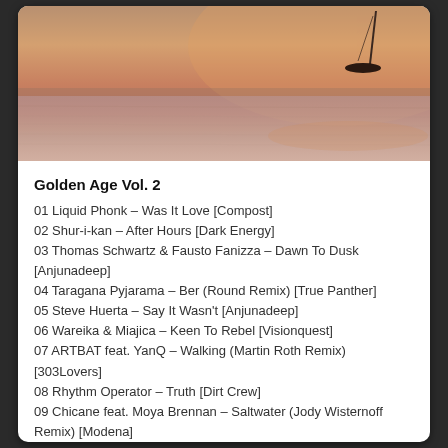[Figure (photo): Scenic lake/water photograph at golden hour/sunset with warm orange-pink tones, reflections on calm water, and a boat silhouette in the upper right]
Golden Age Vol. 2
01 Liquid Phonk – Was It Love [Compost]
02 Shur-i-kan – After Hours [Dark Energy]
03 Thomas Schwartz & Fausto Fanizza – Dawn To Dusk [Anjunadeep]
04 Taragana Pyjarama – Ber (Round Remix) [True Panther]
05 Steve Huerta – Say It Wasn't [Anjunadeep]
06 Wareika & Miajica – Keen To Rebel [Visionquest]
07 ARTBAT feat. YanQ – Walking (Martin Roth Remix) [303Lovers]
08 Rhythm Operator – Truth [Dirt Crew]
09 Chicane feat. Moya Brennan – Saltwater (Jody Wisternoff Remix) [Modena]
10 Robosonic feat. Son Little – Drowning (Dub) [Get Physical]
11 Jonas Rathsman – New Generation [KX]
12 Justin Jay – How I Know [Pets]